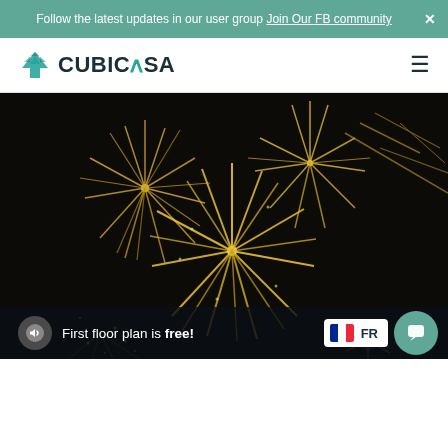Follow the latest updates in our user group Join Our FB community
[Figure (logo): CubicAsa logo with teal arrow/house icon and bold text CUBICASA]
[Figure (photo): Fireworks display against a dark night sky, golden bursts of fireworks with sparks and trails]
First floor plan is free!
[Figure (other): French flag icon with FR country label]